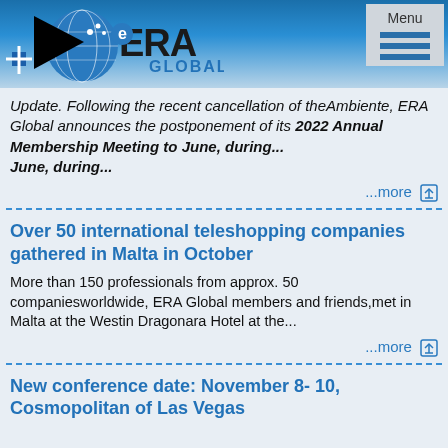ERA Global - Menu
Update. Following the recent cancellation of the Ambiente, ERA Global announces the postponement of its 2022 Annual Membership Meeting to June, during...
...more
Over 50 international teleshopping companies gathered in Malta in October
More than 150 professionals from approx. 50 companiesworldwide, ERA Global members and friends,met in Malta at the Westin Dragonara Hotel at the...
...more
New conference date: November 8- 10, Cosmopolitan of Las Vegas